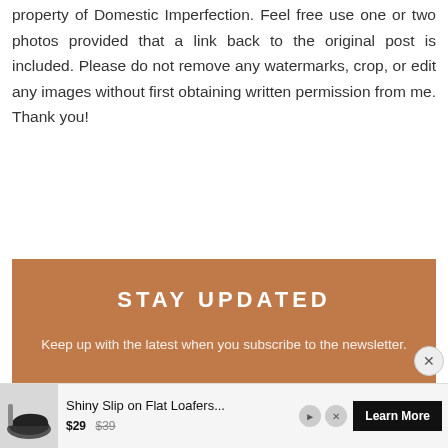property of Domestic Imperfection. Feel free use one or two photos provided that a link back to the original post is included. Please do not remove any watermarks, crop, or edit any images without first obtaining written permission from me. Thank you!
STAY UPDATED
Keep up with the latest when you subscribe to the newsletter.
[Figure (other): Advertisement banner: shoe product ad showing 'Shiny Slip on Flat Loafers...' priced at $29 (originally $39) with a 'Learn More' button and close button]